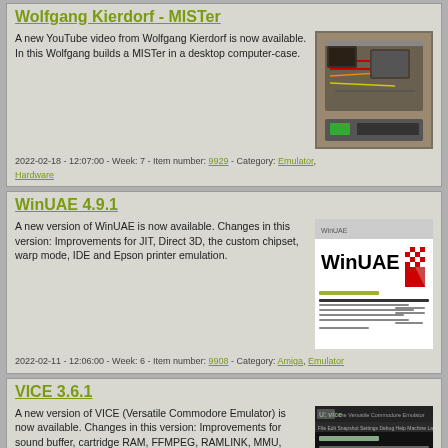Wolfgang Kierdorf - MISTer
A new YouTube video from Wolfgang Kierdorf is now available. In this Wolfgang builds a MISTer in a desktop computer-case.
[Figure (photo): Photo of computer internals/hardware inside a desktop case]
2022-02-18 - 12:07:00 - Week: 7 - Item number: 9929 - Category: Emulator, Hardware
WinUAE 4.9.1
A new version of WinUAE is now available. Changes in this version: Improvements for JIT, Direct 3D, the custom chipset, warp mode, IDE and Epson printer emulation.
[Figure (screenshot): Screenshot of WinUAE software with logo and release notes]
2022-02-11 - 12:06:00 - Week: 6 - Item number: 9908 - Category: Amiga, Emulator
VICE 3.6.1
A new version of VICE (Versatile Commodore Emulator) is now available. Changes in this version: Improvements for sound buffer, cartridge RAM, FFMPEG, RAMLINK, MMU, joystick/mouse, monitor and disk drive. Support for Belgian/Dutch...
[Figure (screenshot): Screenshot of VICE - the Versatile Commodore Emulator website]